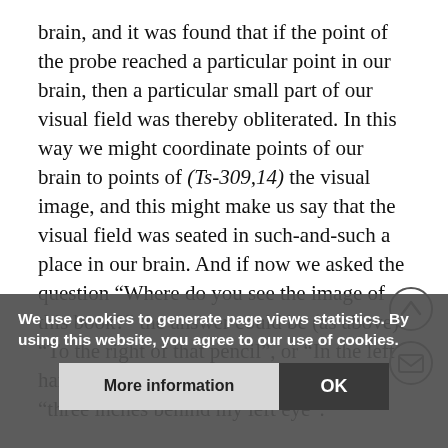brain, and it was found that if the point of the probe reached a particular point in our brain, then a particular small part of our visual field was thereby obliterated. In this way we might coordinate points of our brain to points of (Ts-309,14) the visual image, and this might make us say that the visual field was seated in such-and-such a place in our brain. And if now we asked the question “Where do you see the image of this book?” the answer could be (as above) “To the right of that pencil”, or “In the left hand part of my visual field”, or again: “three inches behind my left eye”.

But what if someone said “I can assure you I feel the visual image to be two inches behind the bridge of my nose” – what are we to answer him? Should we say that he is not speaking the truth, or that there cannot be such a feeling? What i... the feelings there...? How do we know the feelings...
We use cookies to generate page views statistics. By using this website, you agree to our use of cookies.